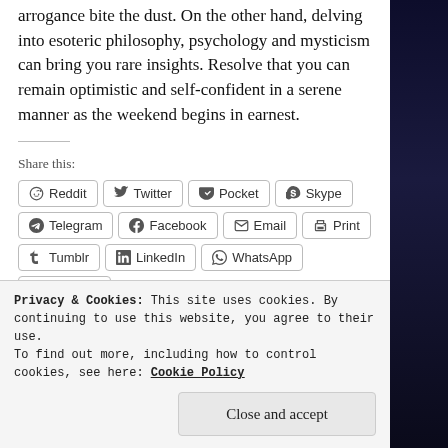arrogance bite the dust. On the other hand, delving into esoteric philosophy, psychology and mysticism can bring you rare insights. Resolve that you can remain optimistic and self-confident in a serene manner as the weekend begins in earnest.
Share this:
Reddit | Twitter | Pocket | Skype | Telegram | Facebook | Email | Print | Tumblr | LinkedIn | WhatsApp | Pinterest
Privacy & Cookies: This site uses cookies. By continuing to use this website, you agree to their use.
To find out more, including how to control cookies, see here: Cookie Policy
Close and accept